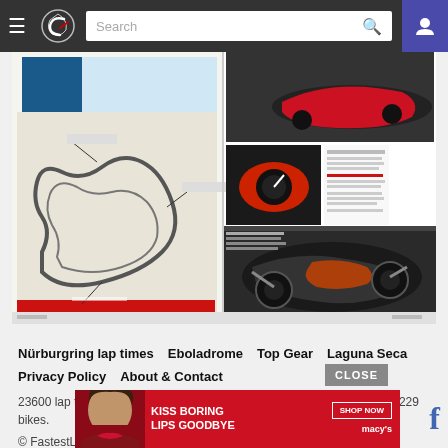FastestLaps.com navigation bar with logo, search, and user icon
[Figure (screenshot): Magazine spread showing Nürburgring circuit map infographic, car dashboard, and McLaren/supercar technical diagrams with red and black imagery]
Nürburgring lap times
Eboladrome
Top Gear
Laguna Seca
Privacy Policy
About & Contact
23600 lap times and 28149 quarter mile, 0-60 times for 10241 cars and 229 bikes.
© FastestLaps.com 2022
[Figure (infographic): Red advertisement banner: KISS BORING LIPS GOODBYE with SHOP NOW and macy's logos]